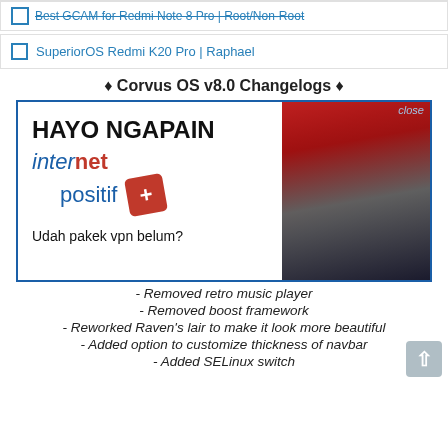Best GCAM for Redmi Note 8 Pro | Root/Non-Root
SuperiorOS Redmi K20 Pro | Raphael
♦ Corvus OS v8.0 Changelogs ♦
[Figure (screenshot): Internet Positif advertisement popup/modal with blue border, showing 'HAYO NGAPAIN' text, internet positif logo with red plus icon, and 'Udah pakek vpn belum?' text, with an anime character on the right side. Has a 'close' button top right.]
ks to
harging info
- Removed retro music player
- Removed boost framework
- Reworked Raven's lair to make it look more beautiful
- Added option to customize thickness of navbar
- Added SELinux switch